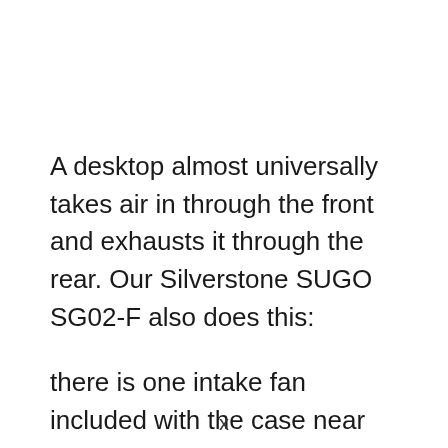A desktop almost universally takes air in through the front and exhausts it through the rear. Our Silverstone SUGO SG02-F also does this:
there is one intake fan included with the case near the front which draws air in over the hard drives; and the power supply fan blows hot air rearwards. Considering all the stuff we're jamming into this little case, that
x